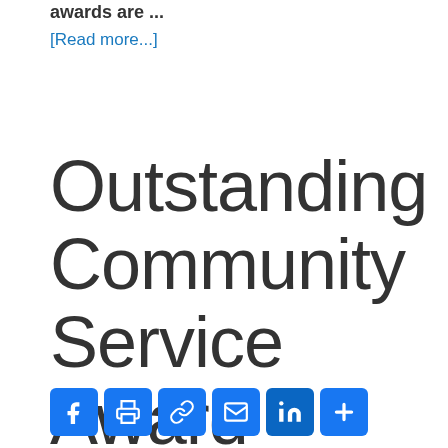awards are ...
[Read more...]
Outstanding Community Service Award
[Figure (other): Social sharing buttons row: Facebook, Print, Link, Email, LinkedIn, More (+)]